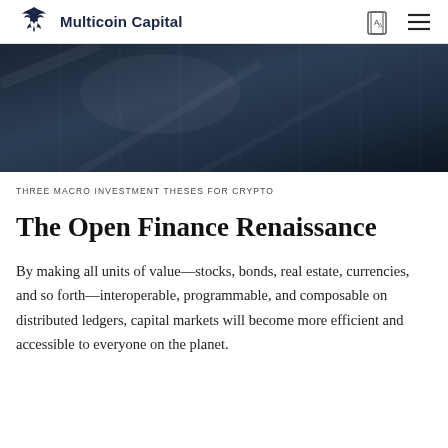Multicoin Capital
[Figure (photo): Dark architectural photograph with geometric glass and steel structures, used as hero banner image]
THREE MACRO INVESTMENT THESES FOR CRYPTO
The Open Finance Renaissance
By making all units of value—stocks, bonds, real estate, currencies, and so forth—interoperable, programmable, and composable on distributed ledgers, capital markets will become more efficient and accessible to everyone on the planet.